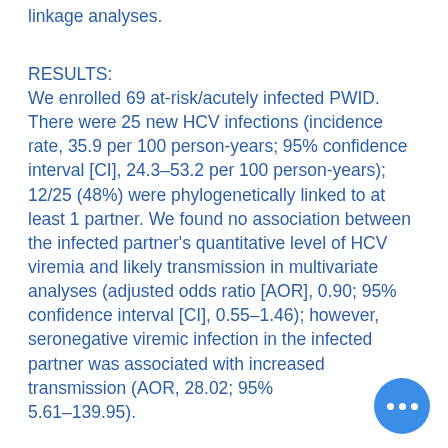linkage analyses.
RESULTS:
We enrolled 69 at-risk/acutely infected PWID. There were 25 new HCV infections (incidence rate, 35.9 per 100 person-years; 95% confidence interval [CI], 24.3–53.2 per 100 person-years); 12/25 (48%) were phylogenetically linked to at least 1 partner. We found no association between the infected partner's quantitative level of HCV viremia and likely transmission in multivariate analyses (adjusted odds ratio [AOR], 0.90; 95% confidence interval [CI], 0.55–1.46); however, seronegative viremic infection in the infected partner was associated with increased transmission (AOR, 28.02; 95% 5.61–139.95).